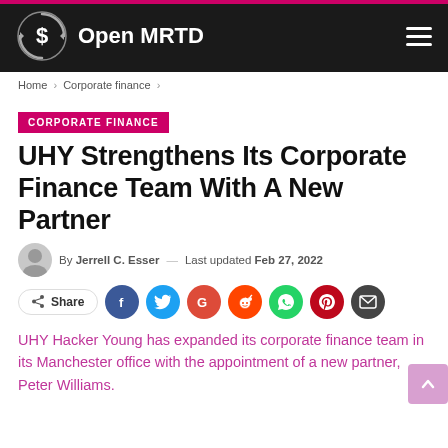Open MRTD
Home > Corporate finance >
CORPORATE FINANCE
UHY Strengthens Its Corporate Finance Team With A New Partner
By Jerrell C. Esser — Last updated Feb 27, 2022
Share
UHY Hacker Young has expanded its corporate finance team in its Manchester office with the appointment of a new partner, Peter Williams.